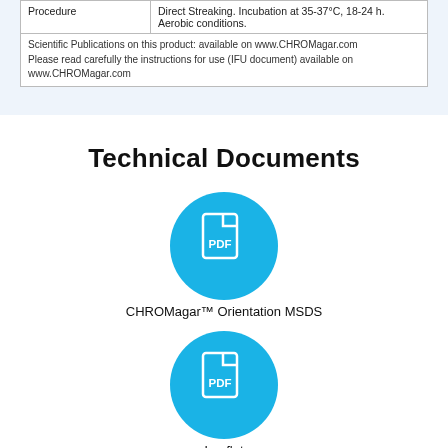| Procedure |  |
| --- | --- |
| Procedure | Direct Streaking. Incubation at 35-37°C, 18-24 h. Aerobic conditions. |
Scientific Publications on this product: available on www.CHROMagar.com
Please read carefully the instructions for use (IFU document) available on www.CHROMagar.com
Technical Documents
[Figure (illustration): Blue circle icon with white PDF document symbol (file with folded corner and 'PDF' text)]
CHROMagar™ Orientation MSDS
[Figure (illustration): Blue circle icon with white PDF document symbol (file with folded corner and 'PDF' text)]
Leaflet